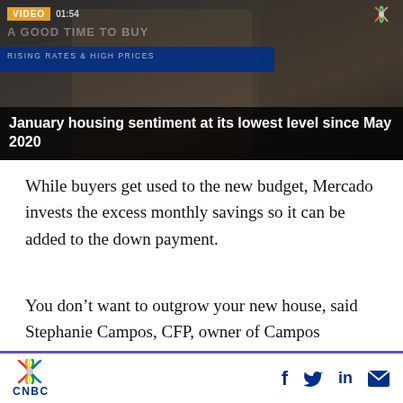[Figure (screenshot): CNBC video thumbnail showing 'January housing sentiment at its lowest level since May 2020' with VIDEO label and 01:54 timestamp, overlaid on dark background with CNBC branding]
While buyers get used to the new budget, Mercado invests the excess monthly savings so it can be added to the down payment.
You don't want to outgrow your new house, said Stephanie Campos, CFP, owner of Campos Financial in Miami. She asks clients questions such as “Will this house meet your needs for more than five to 10 years?” and “Are the mortgage and closing costs worth it, if you need
CNBC logo with social media icons: Facebook, Twitter, LinkedIn, Email